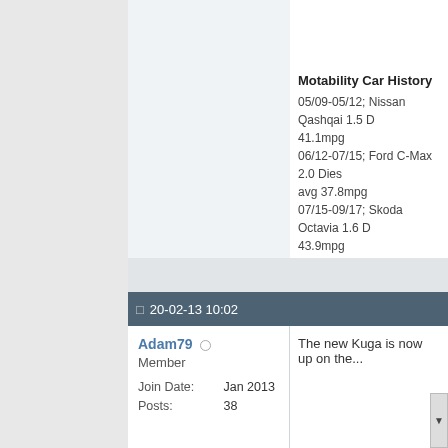Motability Car History
05/09-05/12; Nissan Qashqai 1.5 D... 41.1mpg
06/12-07/15; Ford C-Max 2.0 Dies... avg 37.8mpg
07/15-09/17; Skoda Octavia 1.6 D... 43.9mpg
09/17-Present; VW Touran 1.4 Pet... 35.9mpg (28.6 - 43.9mpg)
Click here to send me an email wi... may have. Replies usually within 4...
20-02-13 10:02
Adam79
Member
Join Date:    Jan 2013
Posts:    38
The new Kuga is now up on the...